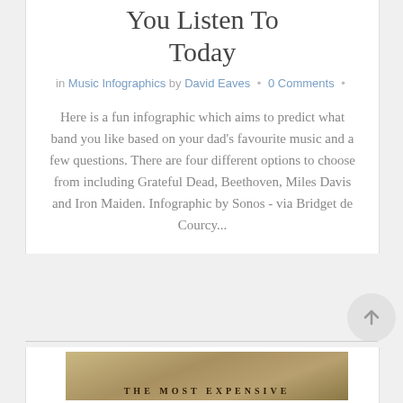You Listen To Today
in Music Infographics by David Eaves • 0 Comments •
Here is a fun infographic which aims to predict what band you like based on your dad's favourite music and a few questions. There are four different options to choose from including Grateful Dead, Beethoven, Miles Davis and Iron Maiden. Infographic by Sonos - via Bridget de Courcy...
[Figure (illustration): Partial view of bottom image strip showing start of another article with ornate text reading 'THE MOST EXPENSIVE' in gold/brown tones]